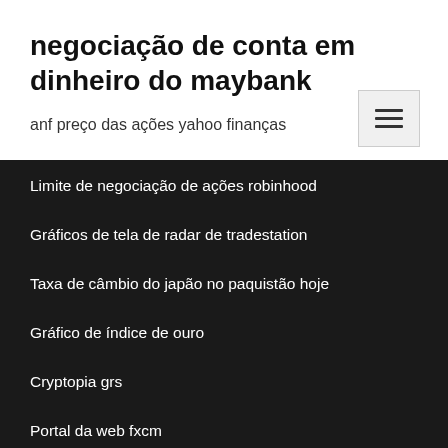negociação de conta em dinheiro do maybank
anf preço das ações yahoo finanças
Limite de negociação de ações robinhood
Gráficos de tela de radar de tradestation
Taxa de câmbio do japão no paquistão hoje
Gráfico de índice de ouro
Cryptopia grs
Portal da web fxcm
Como configurar um jogo de cartas colecionáveis pokemon online
Taxa de câmbio usd para inr para exportação